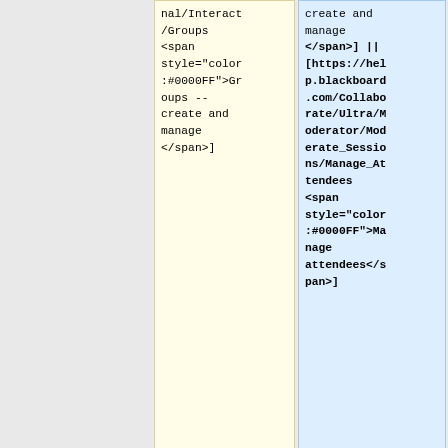| nal/Interact
/Groups
<span style="color:#0000FF">Groups -- create and manage</span>] | create and manage
</span>] || [https://hel p.blackboard .com/Collabo rate/Ultra/M oderator/Mod erate_Sessio ns/Manage_At tendees <span style="color :#0000FF">Ma nage attendees</s pan>] |
| |- | |- |
| |
[https://hel | |
[https://hel |